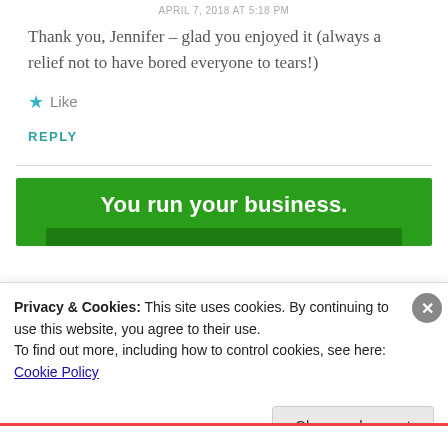APRIL 7, 2018 AT 5:18 PM
Thank you, Jennifer – glad you enjoyed it (always a relief not to have bored everyone to tears!)
★ Like
REPLY
[Figure (infographic): Green advertisement banner with white bold text reading 'You run your business.']
Privacy & Cookies: This site uses cookies. By continuing to use this website, you agree to their use.
To find out more, including how to control cookies, see here: Cookie Policy
Close and accept